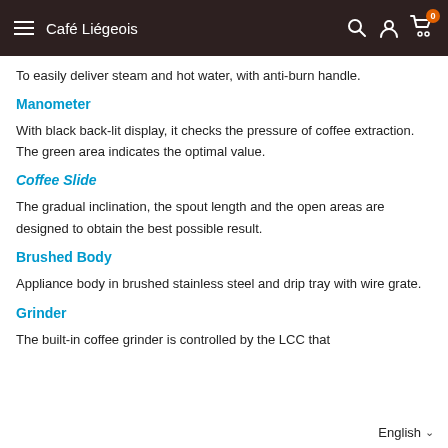Café Liégeois
To easily deliver steam and hot water, with anti-burn handle.
Manometer
With black back-lit display, it checks the pressure of coffee extraction. The green area indicates the optimal value.
Coffee Slide
The gradual inclination, the spout length and the open areas are designed to obtain the best possible result.
Brushed Body
Appliance body in brushed stainless steel and drip tray with wire grate.
Grinder
The built-in coffee grinder is controlled by the LCC that